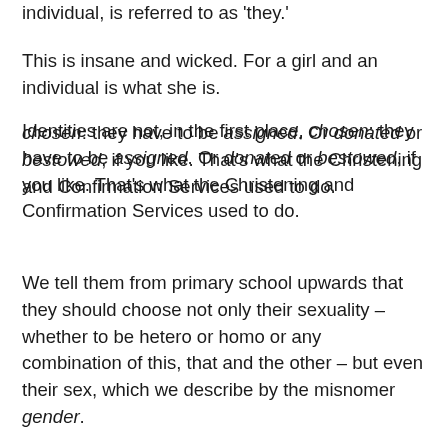individual, is referred to as 'they.'
This is insane and wicked. For a girl and an individual is what she is.
Identities are not, in the first place, chosen: they have to be assigned. Or donated or bestowed, if you like. That's what the Christening and Confirmation Services used to do.
We tell them from primary school upwards that they should choose not only their sexuality – whether to be hetero or homo or any combination of this, that and the other – but even their sex, which we describe by the misnomer gender.
We instruct them from their earliest years in the physical mechanics of sex, while giving them no teaching about sexual ethics. This is tantamount to